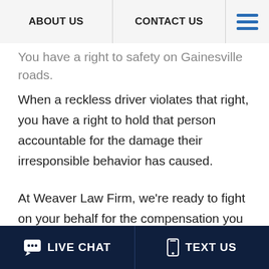ABOUT US | CONTACT US
You have a right to safety on Gainesville roads. When a reckless driver violates that right, you have a right to hold that person accountable for the damage their irresponsible behavior has caused.
At Weaver Law Firm, we're ready to fight on your behalf for the compensation you deserve for your medical bills, lost income, pain, and suffering, and other damages — just as we've done for clients in Gainesville and throughout
LIVE CHAT | TEXT US